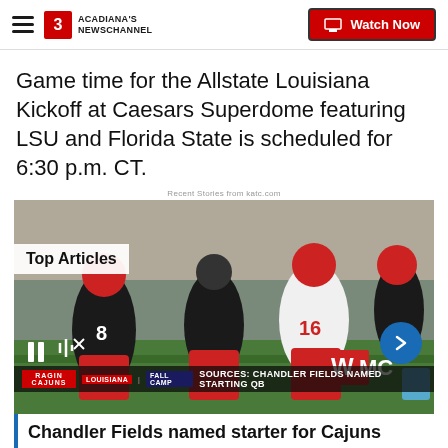Acadiana's Newschannel | Watch Now
Game time for the Allstate Louisiana Kickoff at Caesars Superdome featuring LSU and Florida State is scheduled for 6:30 p.m. CT.
Recent Stories from katc.com
[Figure (photo): Football players in red and black uniforms practicing on field, with coach standing, stadium seating in background. Top Articles label visible. Pause icon and arrow navigation button. Lower bar shows Ragin Cajuns logo, Louisiana Fall Camp tag, and text SOURCES: CHANDLER FIELDS NAMED STARTING QB]
Chandler Fields named starter for Cajuns